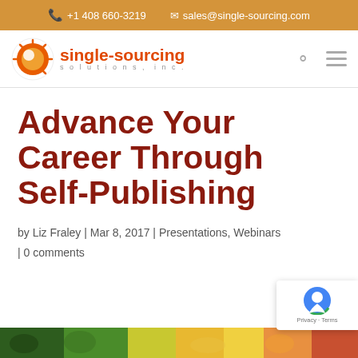+1 408 660-3219   sales@single-sourcing.com
[Figure (logo): Single-Sourcing Solutions Inc. logo with sun/globe icon in orange and red, company name in red bold text]
Advance Your Career Through Self-Publishing
by Liz Fraley | Mar 8, 2017 | Presentations, Webinars | 0 comments
[Figure (photo): Partial view of a colorful image at the bottom of the page]